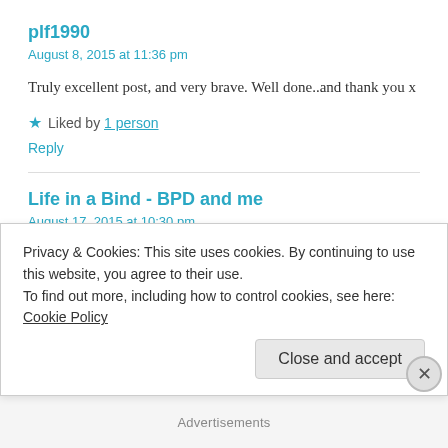plf1990
August 8, 2015 at 11:36 pm
Truly excellent post, and very brave. Well done..and thank you x
★ Liked by 1 person
Reply
Life in a Bind - BPD and me
August 17, 2015 at 10:30 pm
Thank you so much for your kind words, which mean a lot 🙂
Privacy & Cookies: This site uses cookies. By continuing to use this website, you agree to their use.
To find out more, including how to control cookies, see here: Cookie Policy
Close and accept
Advertisements